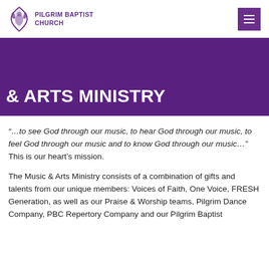PILGRIM BAPTIST CHURCH
& ARTS MINISTRY
“…to see God through our music, to hear God through our music, to feel God through our music and to know God through our music…” This is our heart’s mission.
The Music & Arts Ministry consists of a combination of gifts and talents from our unique members: Voices of Faith, One Voice, FRESH Generation, as well as our Praise & Worship teams, Pilgrim Dance Company, PBC Repertory Company and our Pilgrim Baptist